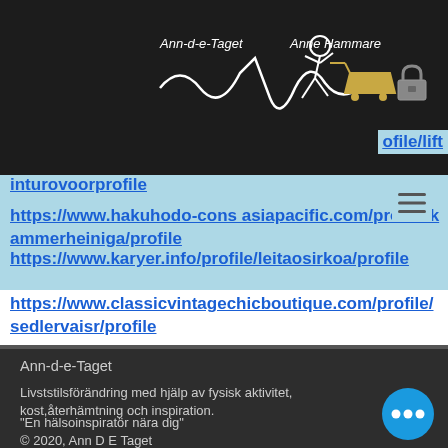[Figure (logo): Ann-d-e-Taget Anne Hammare logo with stylized walking figure on dark background with shopping cart and lock icons]
ofile/lift
inturovoorprofile
https://www.hakuhodo-cons asiapacific.com/profile/kammerheiniga/profile
https://www.karyer.info/profile/leitaosirkoa/profile
https://www.classicvintagechicboutique.com/profile/sedlervaisr/profile
Ann-d-e-Taget
Livststilsförändring med hjälp av fysisk aktivitet, kost,återhämtning och inspiration.
"En hälsoinspiratör nära dig"
© 2020, Ann D E Taget